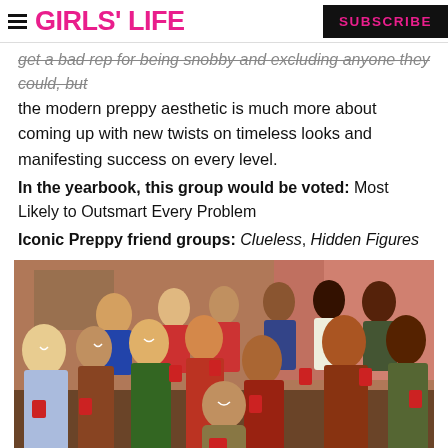GIRLS' LIFE  SUBSCRIBE
get a bad rep for being snobby and excluding anyone they could, but the modern preppy aesthetic is much more about coming up with new twists on timeless looks and manifesting success on every level.
In the yearbook, this group would be voted: Most Likely to Outsmart Every Problem
Iconic Preppy friend groups: Clueless, Hidden Figures
[Figure (photo): Group photo of the Glee TV show cast holding red Solo cups, standing together in what appears to be a school hallway or common room, smiling at the camera. There is a '#G' hashtag visible in the bottom right corner.]